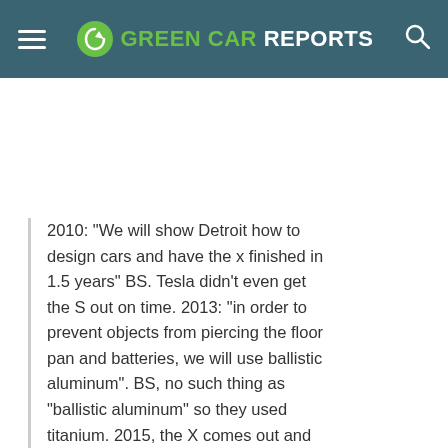GREEN CAR REPORTS
2010: "We will show Detroit how to design cars and have the x finished in 1.5 years" BS. Tesla didn't even get the S out on time. 2013: "in order to prevent objects from piercing the floor pan and batteries, we will use ballistic aluminum". BS, no such thing as "ballistic aluminum" so they used titanium. 2015, the X comes out and the doors don't work. 2016: the 3 will be out in 1.5 years, late 2017. More BS. If musk had a clue he